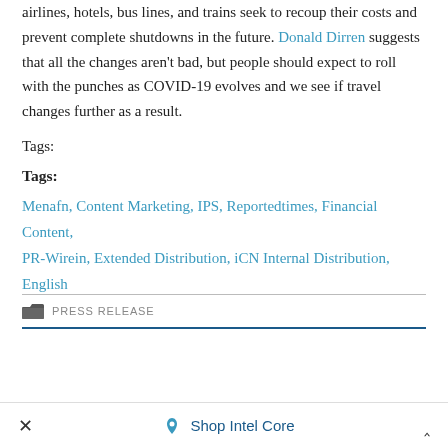airlines, hotels, bus lines, and trains seek to recoup their costs and prevent complete shutdowns in the future. Donald Dirren suggests that all the changes aren't bad, but people should expect to roll with the punches as COVID-19 evolves and we see if travel changes further as a result.
Tags:
Tags:
Menafn, Content Marketing, IPS, Reportedtimes, Financial Content, PR-Wirein, Extended Distribution, iCN Internal Distribution, English
PRESS RELEASE
Shop Intel Core